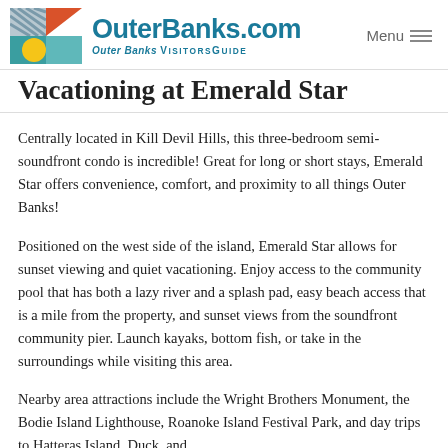OuterBanks.com — Outer Banks Visitors Guide | Menu
Vacationing at Emerald Star
Centrally located in Kill Devil Hills, this three-bedroom semi-soundfront condo is incredible! Great for long or short stays, Emerald Star offers convenience, comfort, and proximity to all things Outer Banks!
Positioned on the west side of the island, Emerald Star allows for sunset viewing and quiet vacationing. Enjoy access to the community pool that has both a lazy river and a splash pad, easy beach access that is a mile from the property, and sunset views from the soundfront community pier. Launch kayaks, bottom fish, or take in the surroundings while visiting this area.
Nearby area attractions include the Wright Brothers Monument, the Bodie Island Lighthouse, Roanoke Island Festival Park, and day trips to Hatteras Island, Duck, and